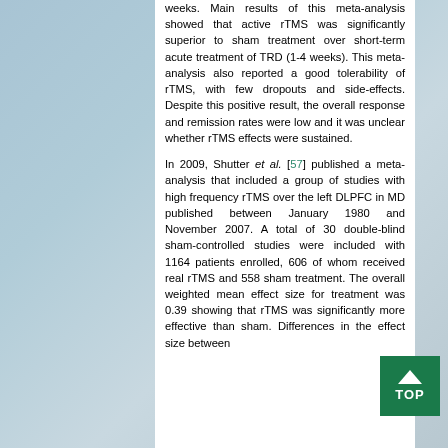weeks. Main results of this meta-analysis showed that active rTMS was significantly superior to sham treatment over short-term acute treatment of TRD (1-4 weeks). This meta-analysis also reported a good tolerability of rTMS, with few dropouts and side-effects. Despite this positive result, the overall response and remission rates were low and it was unclear whether rTMS effects were sustained.
In 2009, Shutter et al. [57] published a meta-analysis that included a group of studies with high frequency rTMS over the left DLPFC in MD published between January 1980 and November 2007. A total of 30 double-blind sham-controlled studies were included with 1164 patients enrolled, 606 of whom received real rTMS and 558 sham treatment. The overall weighted mean effect size for treatment was 0.39 showing that rTMS was significantly more effective than sham. Differences in the effect size between